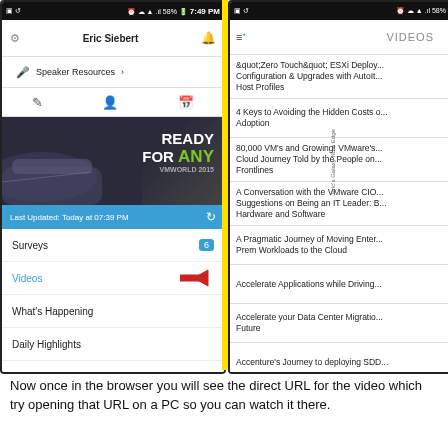[Figure (screenshot): Two side-by-side mobile phone screenshots. Left screenshot shows a navigation menu with Eric Siebert username, Speaker Resources, icons, a VMworld 'Ready for Any' train banner, a blue 'Last Updated: Today at 07:39 PM' bar with refresh icon, menu items including Surveys (badge: 6), Videos (highlighted in blue with red arrow pointing left), What's Happening, Daily Highlights, Sessions | Speakers. Right screenshot shows a VIDEOS list with entries: &quot;Zero Touch&quot; ESXi Deployment Configuration & Upgrades with AutoIt Host Profiles; 4 Keys to Avoiding the Hidden Costs of Cloud Adoption; 80,000 VM's and Growing! VMware's Cloud Journey Told by the People on the Frontlines; A Conversation with the VMware CIO...; A Pragmatic Journey of Moving Enterprise On-Prem Workloads to the Cloud; Accelerate Applications while Driving Down Costs; Accelerate your Data Center Migration to the Future; Accenture's Journey to deploying SDD... The two screenshots are separated by a yellow vertical bar.]
Now once in the browser you will see the direct URL for the video which you can try opening that URL on a PC so you can watch it there.